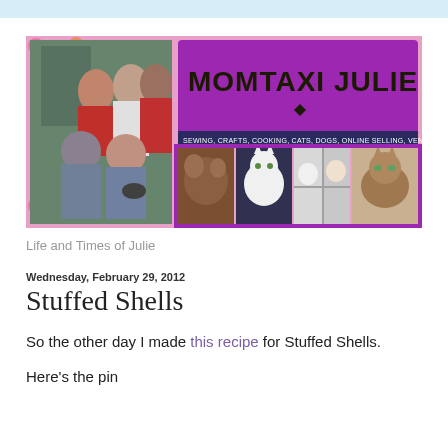[Figure (photo): Blog header banner for MomTaxi Julie showing a family photo on the left, a purple logo reading MOMTAXI JULIE with tagline about sewing, crafts, cooking, cats, dogs, online selling, vendor events, family and chaos, and four cat photos on the right, all on a colorful floral background.]
Life and Times of Julie
Wednesday, February 29, 2012
Stuffed Shells
So the other day I made this recipe for Stuffed Shells.
Here's the pin